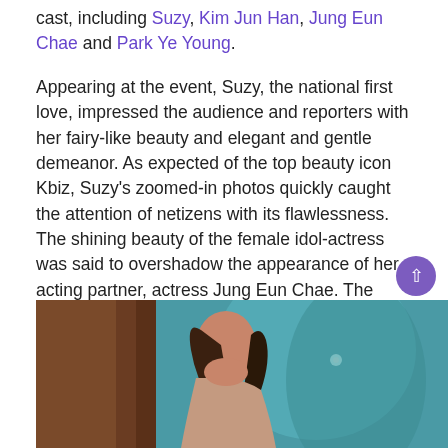cast, including Suzy, Kim Jun Han, Jung Eun Chae and Park Ye Young.
Appearing at the event, Suzy, the national first love, impressed the audience and reporters with her fairy-like beauty and elegant and gentle demeanor. As expected of the top beauty icon Kbiz, Suzy's zoomed-in photos quickly caught the attention of netizens with its flawlessness. The shining beauty of the female idol-actress was said to overshadow the appearance of her acting partner, actress Jung Eun Chae. The actress appeared elegantly in a black suit but her makeup was said to be too pale.
[Figure (photo): Photo of a woman with long dark hair, partially visible from behind/side, against a teal/blue background. Wooden element visible on left side.]